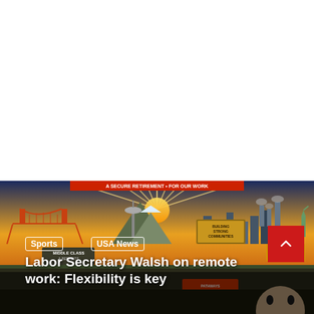[Figure (illustration): A colorful mural illustration depicting American labor scenes including the Golden Gate Bridge, mountains, city skylines, industrial smokestacks, Statue of Liberty, and various signs reading 'Building Strong Communities', 'Middle Class & Benefits', 'Pathways Registered Apprentices', with a sunset sky background. Bottom portion shows a partial view of a person's face.]
Sports
USA News
Labor Secretary Walsh on remote work: Flexibility is key